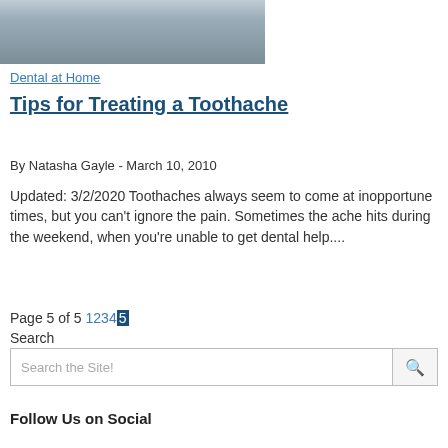[Figure (photo): Man holding jaw/cheek in pain, suggesting a toothache]
Dental at Home
Tips for Treating a Toothache
By Natasha Gayle - March 10, 2010
Updated: 3/2/2020 Toothaches always seem to come at inopportune times, but you can't ignore the pain. Sometimes the ache hits during the weekend, when you're unable to get dental help....
Page 5 of 5 1 2 3 4 5
Search
Search the Site!
Follow Us on Social